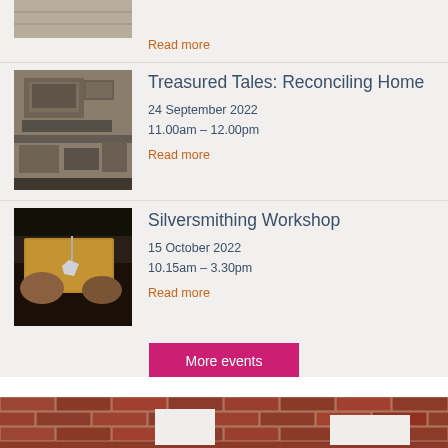Read more
Treasured Tales: Reconciling Home
24 September 2022
11.00am – 12.00pm
Read more
Silversmithing Workshop
15 October 2022
10.15am – 3.30pm
Read more
More events
[Figure (photo): Brick wall with white rectangular panels/artworks mounted on it]